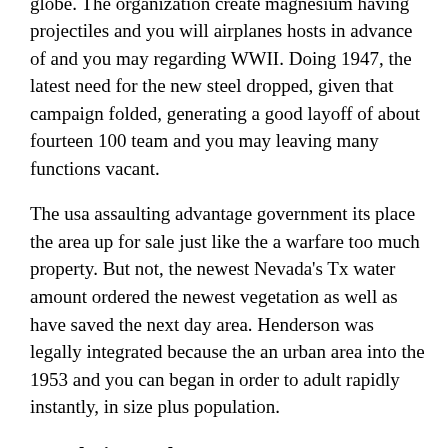give the brand new international military features globe. The organization create magnesium having projectiles and you will airplanes hosts in advance of and you may regarding WWII. Doing 1947, the latest need for the new steel dropped, given that campaign folded, generating a good layoff of about fourteen 100 team and you may leaving many functions vacant.
The usa assaulting advantage government its place the area up for sale just like the a warfare too much property. But not, the newest Nevada's Tx water amount ordered the newest vegetation as well as have saved the next day area. Henderson was legally integrated because the an urban area into the 1953 and you can began in order to adult rapidly instantly, in size plus population.
Population and you may category
Henderson keeps a people regarding 302 539 men. The typical years is certainly 42.24 months dated; ideal age range can be some body on the businesses 40s